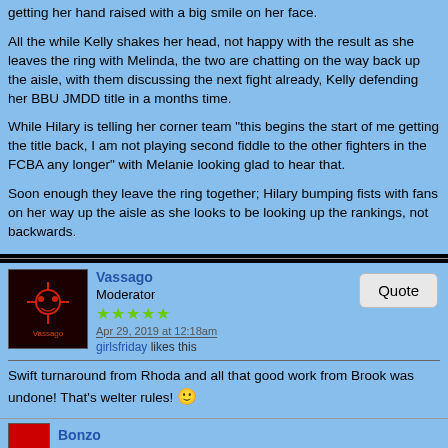getting her hand raised with a big smile on her face.
All the while Kelly shakes her head, not happy with the result as she leaves the ring with Melinda, the two are chatting on the way back up the aisle, with them discussing the next fight already, Kelly defending her BBU JMDD title in a months time.
While Hilary is telling her corner team "this begins the start of me getting the title back, I am not playing second fiddle to the other fighters in the FCBA any longer" with Melanie looking glad to hear that.
Soon enough they leave the ring together; Hilary bumping fists with fans on her way up the aisle as she looks to be looking up the rankings, not backwards.
Vassago
Moderator
★★★★★
Apr 29, 2019 at 12:18am
girlsfriday likes this
Swift turnaround from Rhoda and all that good work from Brook was undone! That's welter rules! 🙂
Bonzo